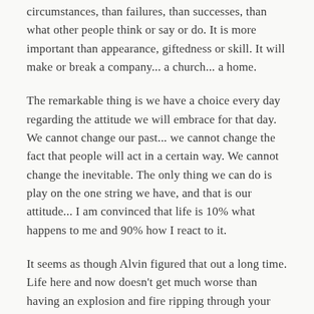circumstances, than failures, than successes, than what other people think or say or do. It is more important than appearance, giftedness or skill. It will make or break a company... a church... a home.
The remarkable thing is we have a choice every day regarding the attitude we will embrace for that day. We cannot change our past... we cannot change the fact that people will act in a certain way. We cannot change the inevitable. The only thing we can do is play on the one string we have, and that is our attitude... I am convinced that life is 10% what happens to me and 90% how I react to it.
It seems as though Alvin figured that out a long time. Life here and now doesn't get much worse than having an explosion and fire ripping through your house and having two younger and beautiful sisters die of smoke inhalation.  It doesn't get too much